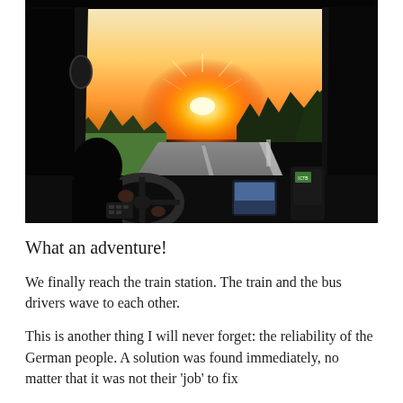[Figure (photo): View from inside a bus looking over the driver's shoulder toward a winding road at sunset. The bus driver's hands are on the steering wheel. Dashboard instruments and navigation devices are visible on the right. Green fields and a forest tree line frame the horizon with a bright orange sun setting behind the trees. The bus windshield and pillars frame the scene.]
What an adventure!
We finally reach the train station. The train and the bus drivers wave to each other.
This is another thing I will never forget: the reliability of the German people. A solution was found immediately, no matter that it was not their 'job' to fix